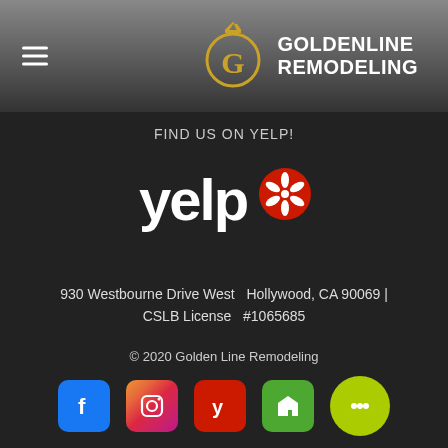[Figure (logo): Goldenline Remodeling logo with hamburger menu, circular G emblem in gold, and company name in white text on gray gradient header]
FIND US ON YELP!
[Figure (logo): Yelp logo in white and red on dark background]
930 Westbourne Drive West  Hollywood, CA 90069 | CSLB License  #1065685
© 2020 Golden Line Remodeling
[Figure (infographic): Social media icons row: Facebook (blue), Instagram (gradient), Yelp (red), Houzz (green), Chat button (yellow-green circle)]